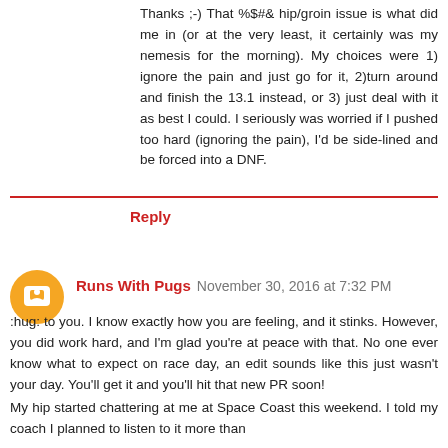Thanks ;-) That %$#& hip/groin issue is what did me in (or at the very least, it certainly was my nemesis for the morning). My choices were 1) ignore the pain and just go for it, 2)turn around and finish the 13.1 instead, or 3) just deal with it as best I could. I seriously was worried if I pushed too hard (ignoring the pain), I'd be sidelined and be forced into a DNF.
Reply
Runs With Pugs  November 30, 2016 at 7:32 PM
:hug: to you. I know exactly how you are feeling, and it stinks. However, you did work hard, and I'm glad you're at peace with that. No one ever know what to expect on race day, an edit sounds like this just wasn't your day. You'll get it and you'll hit that new PR soon!
My hip started chattering at me at Space Coast this weekend. I told my coach I planned to listen to it more than